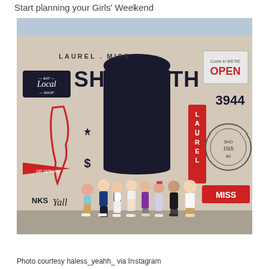Start planning your Girls' Weekend
[Figure (photo): Group of eight women posing together in front of the 'Laurel, Miss Shop 16th' mural painted on a brick building exterior. The mural features colorful text and graphics including 'Eat Local Shop', 'LAUREL. MISS SHOP 16TH', 'OPEN', '3944', 'LAUREL', 'NKS Yall', and 'SHOP DIN'. The women are standing on a sidewalk/parking lot in front of the mural.]
Photo courtesy haless_yeahh_ via Instagram